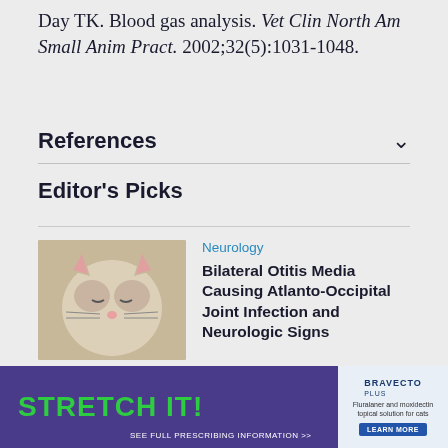Day TK. Blood gas analysis. Vet Clin North Am Small Anim Pract. 2002;32(5):1031-1048.
References
Editor's Picks
Neurology
[Figure (photo): Close-up photo of a cat with eyes closed]
Bilateral Otitis Media Causing Atlanto-Occipital Joint Infection and Neurologic Signs
Clinical Pathology
[Figure (photo): Photo of a person in orange shirt with a cat]
How to Collect and Process...
[Figure (infographic): STRETCH IT advertisement banner for Bravecto Plus]